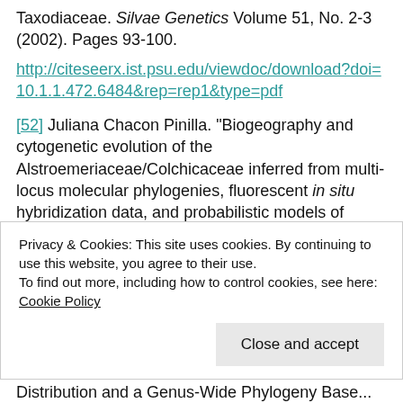Taxodiaceae. Silvae Genetics Volume 51, No. 2-3 (2002). Pages 93-100.
http://citeseerx.ist.psu.edu/viewdoc/download?doi=10.1.1.472.6484&rep=rep1&type=pdf
[52] Juliana Chacon Pinilla. "Biogeography and cytogenetic evolution of the Alstroemeriaceae/Colchicaceae inferred from multi-locus molecular phylogenies, fluorescent in situ hybridization data, and probabilistic models of geographic and chromosome number change." (PhD diss., The Ludwig-Maximillian's University of
Privacy & Cookies: This site uses cookies. By continuing to use this website, you agree to their use.
To find out more, including how to control cookies, see here: Cookie Policy
Distribution and a Genus-Wide Phylogeny Base...